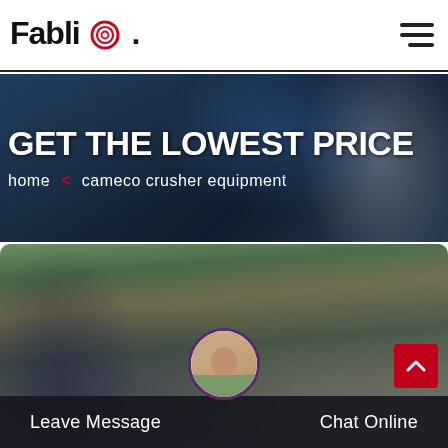FabliQ
GET THE LOWEST PRICE
home < cameco crusher equipment
[Figure (photo): Industrial crusher/mining equipment machinery with blue metallic structures, dark overlay, two images side by side showing different mining machines]
[Figure (photo): Open-pit quarry mining site with hillside terrain, conveyor belts and jaw crusher equipment in foreground, customer service representative avatar circle overlay]
Leave Message
Chat Online